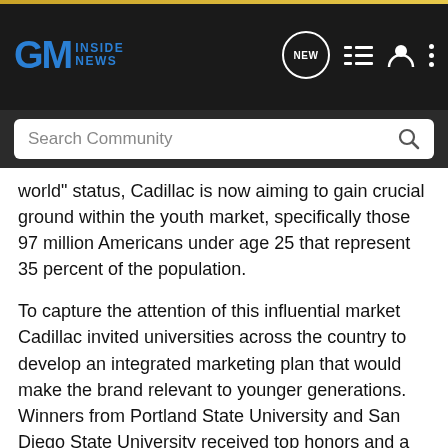GM Inside News
world" status, Cadillac is now aiming to gain crucial ground within the youth market, specifically those 97 million Americans under age 25 that represent 35 percent of the population.
To capture the attention of this influential market Cadillac invited universities across the country to develop an integrated marketing plan that would make the brand relevant to younger generations. Winners from Portland State University and San Diego State University received top honors and a cash prize.
The Cadillac National Case Study Competition (CNCSC) enlisted the skills of 23 classes (16 undergraduate and 7 MBA) encompassing some 350 students nationwide. Participating teams were asked to learn about the "rebirth of Cadillac" and design a marketing plan that would effectively communicate the